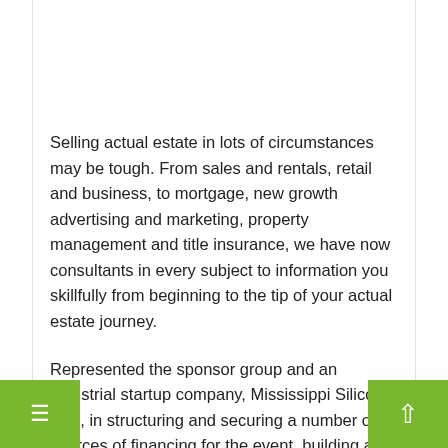Selling actual estate in lots of circumstances may be tough. From sales and rentals, retail and business, to mortgage, new growth advertising and marketing, property management and title insurance, we have now consultants in every subject to information you skillfully from beginning to the tip of your actual estate journey.
Represented the sponsor group and an industrial startup company, Mississippi Silicon, LLC, in structuring and securing a number of sources of financing for the event, building and